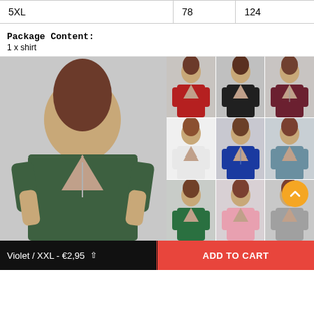|  |  |  |
| --- | --- | --- |
| 5XL | 78 | 124 |
Package Content:
1 x shirt
[Figure (photo): Product photo collage showing a women's V-neck zip-up blouse in multiple colors: green (main large photo), red, black, maroon, white, blue, teal, green, pink, gray]
Violet / XXL - €2,95  ADD TO CART